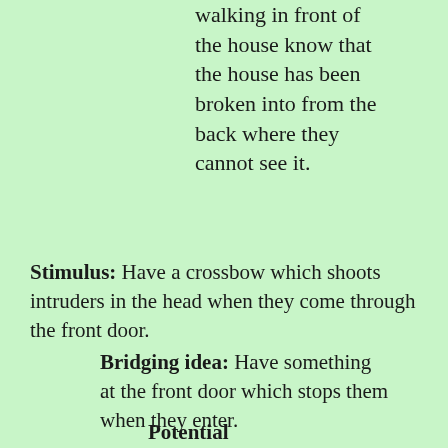that people walking in front of the house know that the house has been broken into from the back where they cannot see it.
Stimulus: Have a crossbow which shoots intruders in the head when they come through the front door.
Bridging idea: Have something at the front door which stops them when they enter.
Potential